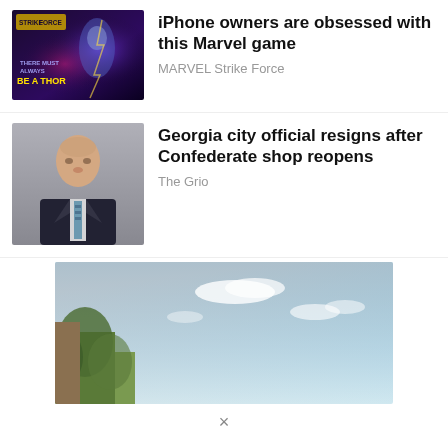[Figure (photo): Marvel Strike Force game ad with Thor character, dark purple/blue background. Text: THERE MUST ALWAYS BE A THOR]
iPhone owners are obsessed with this Marvel game
MARVEL Strike Force
[Figure (photo): Portrait photo of an older bald man in a dark suit with a patterned tie, against a grey background]
Georgia city official resigns after Confederate shop reopens
The Grio
[Figure (photo): Outdoor landscape photo with blue sky, clouds, and trees/vegetation on the left side]
×